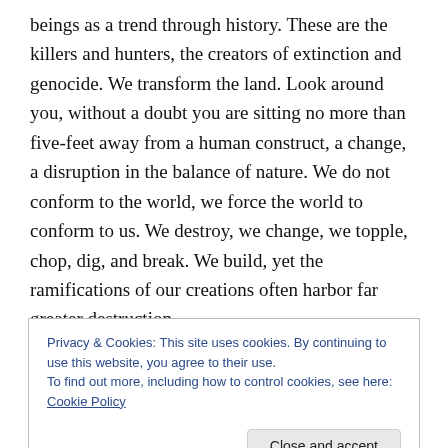beings as a trend through history. These are the killers and hunters, the creators of extinction and genocide. We transform the land. Look around you, without a doubt you are sitting no more than five-feet away from a human construct, a change, a disruption in the balance of nature. We do not conform to the world, we force the world to conform to us. We destroy, we change, we topple, chop, dig, and break. We build, yet the ramifications of our creations often harbor far greater destruction.
We topple each other's nations and civilizations. We find
Privacy & Cookies: This site uses cookies. By continuing to use this website, you agree to their use.
To find out more, including how to control cookies, see here: Cookie Policy
Close and accept